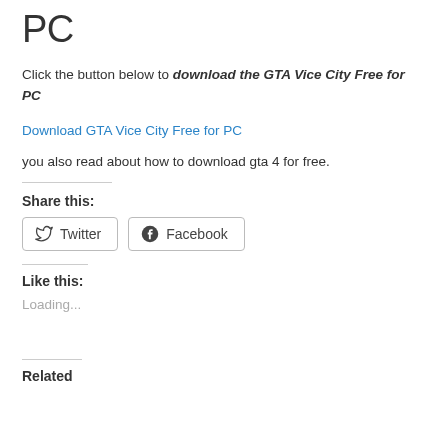PC
Click the button below to download the GTA Vice City Free for PC
Download GTA Vice City Free for PC
you also read about how to download gta 4 for free.
Share this:
[Figure (other): Twitter and Facebook share buttons]
Like this:
Loading...
Related